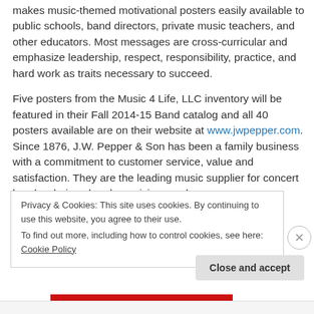makes music-themed motivational posters easily available to public schools, band directors, private music teachers, and other educators. Most messages are cross-curricular and emphasize leadership, respect, responsibility, practice, and hard work as traits necessary to succeed.
Five posters from the Music 4 Life, LLC inventory will be featured in their Fall 2014-15 Band catalog and all 40 posters available are on their website at www.jwpepper.com. Since 1876, J.W. Pepper & Son has been a family business with a commitment to customer service, value and satisfaction. They are the leading music supplier for concert bands, choirs, church musicians and
Privacy & Cookies: This site uses cookies. By continuing to use this website, you agree to their use.
To find out more, including how to control cookies, see here: Cookie Policy
Close and accept